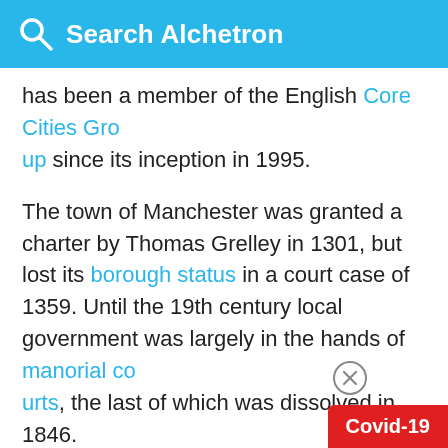Search Alchetron
has been a member of the English Core Cities Group since its inception in 1995.
The town of Manchester was granted a charter by Thomas Grelley in 1301, but lost its borough status in a court case of 1359. Until the 19th century local government was largely in the hands of manorial courts, the last of which was dissolved in 1846.
From a very early time, the township of Manchester lay within the historic or ceremonial county boundaries of Lancashire. Pevsner wrote "That [neighbouring] Stretford and Salford are not administratively one with Manchester is o... most curious anomalies of England". A stroke of a